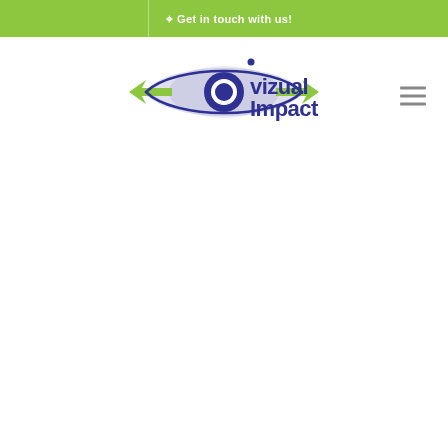Get in touch with us!
[Figure (logo): Vizual Impact logo — stylized eye shape in green and dark blue with arrows, text 'vizual impact' in dark blue]